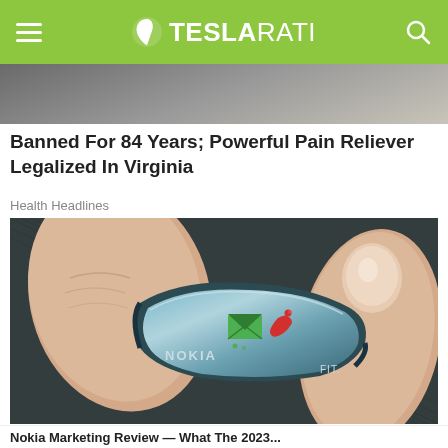TESLARATI
[Figure (photo): Top portion of an advertisement image partially visible below the header bar]
Banned For 84 Years; Powerful Pain Reliever Legalized In Virginia
Health Headlines
[Figure (photo): Close-up photo of a finger wearing a small Nokia FIT ring device with a green envelope icon and red phone icon on its surface]
Nokia Marketing Review — What The 2023...